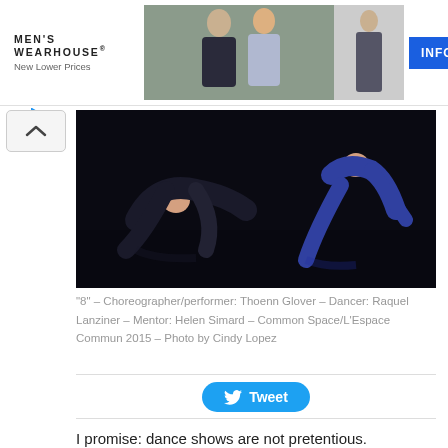[Figure (photo): Men's Wearhouse advertisement banner showing a couple in formal wear and a man in a suit, with INFO button]
[Figure (photo): Dance performance photo: two dancers on a dark stage, one in black and one in blue dress, labeled as '8' choreographed by Thoenn Glover]
“8” – Choreographer/performer: Thoenn Glover – Dancer: Raquel Lanziner – Mentor: Helen Simard – Common Space/L’Espace Commun 2015 – Photo by Cindy Lopez
Tweet
I promise: dance shows are not pretentious.
It’s not all tutus and pink and dainty little things en pointe (though it can be that… check Danse Danse’s Dada Masilo for something you’re not expecting). It’s not all psychotic brooding competitive types who stab themselves at the height of their performance. The Rouge d’Ici festival makes it clear